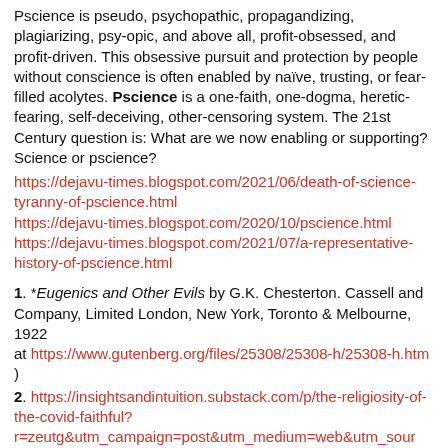Pscience is pseudo, psychopathic, propagandizing, plagiarizing, psy-opic, and above all, profit-obsessed, and profit-driven. This obsessive pursuit and protection by people without conscience is often enabled by naïve, trusting, or fear-filled acolytes. Pscience is a one-faith, one-dogma, heretic-fearing, self-deceiving, other-censoring system. The 21st Century question is: What are we now enabling or supporting? Science or pscience?
https://dejavu-times.blogspot.com/2021/06/death-of-science-tyranny-of-pscience.html
https://dejavu-times.blogspot.com/2020/10/pscience.html
https://dejavu-times.blogspot.com/2021/07/a-representative-history-of-pscience.html
1. *Eugenics and Other Evils by G.K. Chesterton. Cassell and Company, Limited London, New York, Toronto & Melbourne, 1922
at https://www.gutenberg.org/files/25308/25308-h/25308-h.htm )
2. https://insightsandintuition.substack.com/p/the-religiosity-of-the-covid-faithful?r=zeutg&utm_campaign=post&utm_medium=web&utm_sour